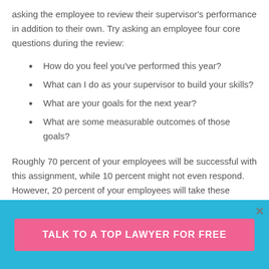asking the employee to review their supervisor's performance in addition to their own. Try asking an employee four core questions during the review:
How do you feel you've performed this year?
What can I do as your supervisor to build your skills?
What are your goals for the next year?
What are some measurable outcomes of those goals?
Roughly 70 percent of your employees will be successful with this assignment, while 10 percent might not even respond. However, 20 percent of your employees will take these questions to heart and walk away highly
TALK TO A TOP LAWYER FOR FREE